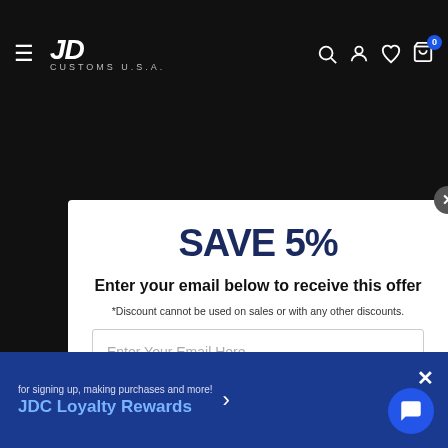[Figure (screenshot): JD Customs U.S.A. website navigation bar with hamburger menu, logo, search, account, wishlist, and cart icons on black background]
SAVE 5%
Enter your email below to receive this offer
*Discount cannot be used on sales or with any other discounts.
Enter Your Email Here
GET MY 5% OFF
[Figure (infographic): Social media icons: Instagram, Facebook, TikTok, YouTube]
NO THANKS
for signing up, making purchases and more!
JDC Loyalty Rewards